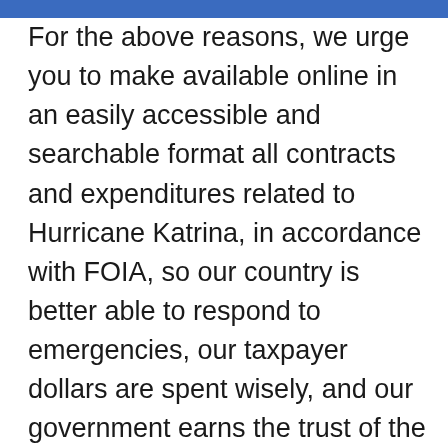For the above reasons, we urge you to make available online in an easily accessible and searchable format all contracts and expenditures related to Hurricane Katrina, in accordance with FOIA, so our country is better able to respond to emergencies, our taxpayer dollars are spent wisely, and our government earns the trust of the people it serves. To follow up on this matter or address any questions about this letter, please contact Rick Blum or Emily Feldman of OpenTheGovernment.org